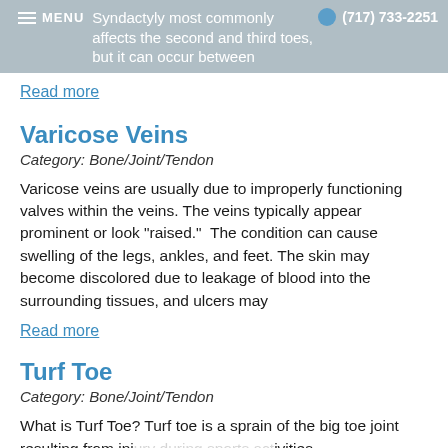Syndactyly most commonly affects the second and third toes, but it can occur between | MENU | (717) 733-2251
Read more
Varicose Veins
Category: Bone/Joint/Tendon
Varicose veins are usually due to improperly functioning valves within the veins. The veins typically appear prominent or look "raised." The condition can cause swelling of the legs, ankles, and feet. The skin may become discolored due to leakage of blood into the surrounding tissues, and ulcers may
Read more
Turf Toe
Category: Bone/Joint/Tendon
What is Turf Toe? Turf toe is a sprain of the big toe joint resulting from inj ... ivities.
Accessibility View ×